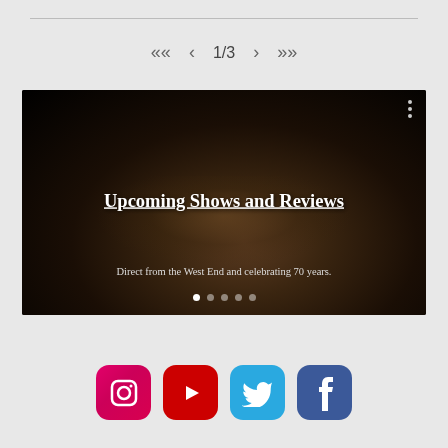1/3
[Figure (screenshot): Video/media card showing a dark film still of a person's face with text overlay 'Upcoming Shows and Reviews' and subtitle 'Direct from the West End and celebrating 70 years.' with carousel dot indicators.]
[Figure (infographic): Row of four social media icon buttons: Instagram (pink/red gradient), YouTube (red), Twitter (blue), Facebook (blue)]